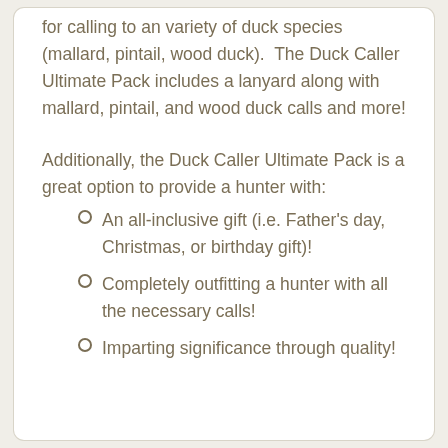for calling to an variety of duck species (mallard, pintail, wood duck).  The Duck Caller Ultimate Pack includes a lanyard along with mallard, pintail, and wood duck calls and more!
Additionally, the Duck Caller Ultimate Pack is a great option to provide a hunter with:
An all-inclusive gift (i.e. Father's day, Christmas, or birthday gift)!
Completely outfitting a hunter with all the necessary calls!
Imparting significance through quality!